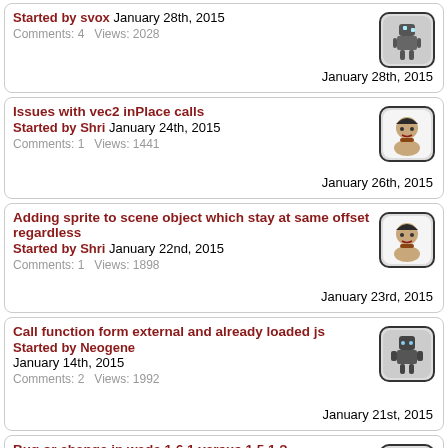Started by svox January 28th, 2015
Comments: 4   Views: 2028   January 28th, 2015
Issues with vec2 inPlace calls
Started by Shri January 24th, 2015
Comments: 1   Views: 1441   January 26th, 2015
Adding sprite to scene object which stay at same offset regardless
Started by Shri January 22nd, 2015
Comments: 1   Views: 1898   January 23rd, 2015
Call function form external and already loaded js
Started by Neogene January 14th, 2015
Comments: 2   Views: 1992   January 21st, 2015
Bug or change in wade 1.6.1 versus 1.5.1 ?
Started by Shri January 20th, 2015
Comments: 2   Views: 1328   January 20th, 2015